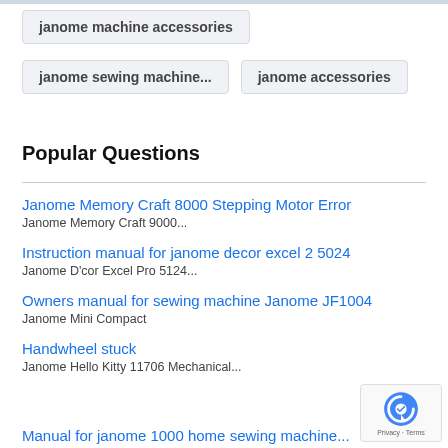janome machine accessories
janome sewing machine...
janome accessories
Popular Questions
Janome Memory Craft 8000 Stepping Motor Error
Janome Memory Craft 9000...
Instruction manual for janome decor excel 2 5024
Janome D'cor Excel Pro 5124...
Owners manual for sewing machine Janome JF1004
Janome Mini Compact
Handwheel stuck
Janome Hello Kitty 11706 Mechanical...
Manual for janome 1000 home sewing machine...